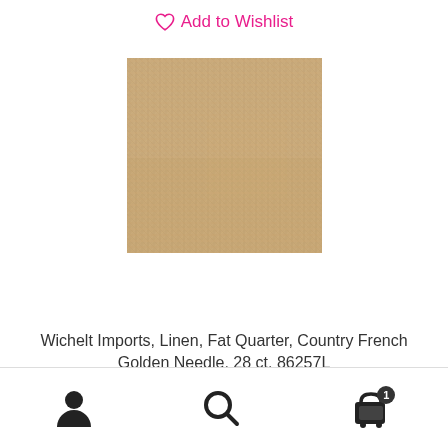Add to Wishlist
[Figure (photo): Close-up swatch of Wichelt linen fabric in a tan/golden beige color with visible woven texture]
Wichelt Imports, Linen, Fat Quarter, Country French Golden Needle, 28 ct, 86257L
$25.00
Add to cart
Navigation bar with user, search, and cart icons